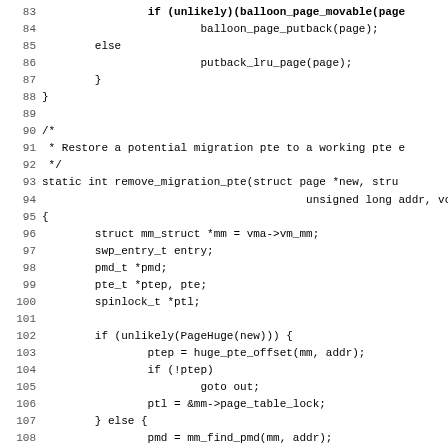[Figure (screenshot): Source code listing (C language) showing lines 83-115 of a kernel file. Lines include balloon_page_putback, putback_lru_page, remove_migration_pte function definition, and related code for handling huge pages and pmd/pte offsets.]